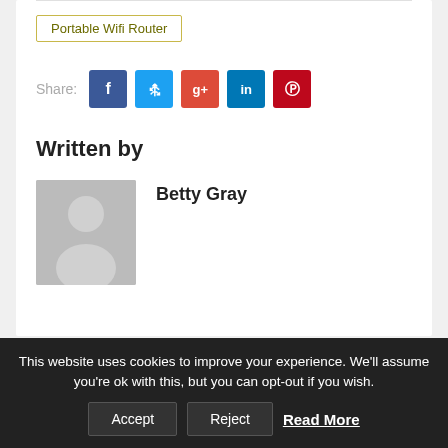Portable Wifi Router
Share:
Written by
Betty Gray
[Figure (illustration): Grey placeholder avatar with a person silhouette]
This website uses cookies to improve your experience. We'll assume you're ok with this, but you can opt-out if you wish.
Accept
Reject
Read More